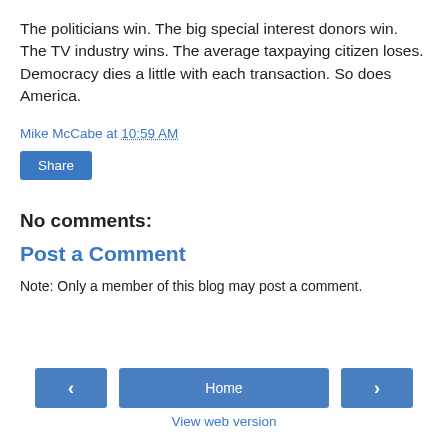The politicians win. The big special interest donors win. The TV industry wins. The average taxpaying citizen loses. Democracy dies a little with each transaction. So does America.
Mike McCabe at 10:59 AM
Share
No comments:
Post a Comment
Note: Only a member of this blog may post a comment.
‹  Home  ›  View web version